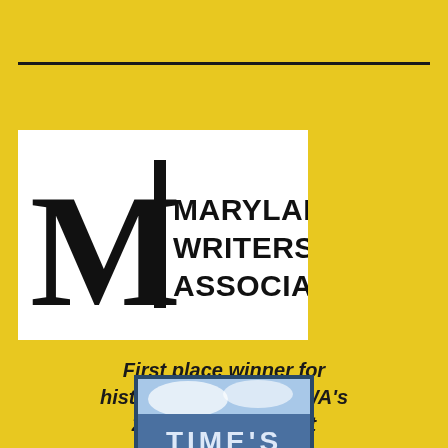[Figure (logo): Maryland Writers' Association logo with large M and pen graphic beside the text MARYLAND WRITERS' ASSOCIATION]
First place winner for historical fiction in MWA's 2008 Novel Contest
[Figure (photo): Partial book cover showing the text TIME'S on a blue background with dark border]